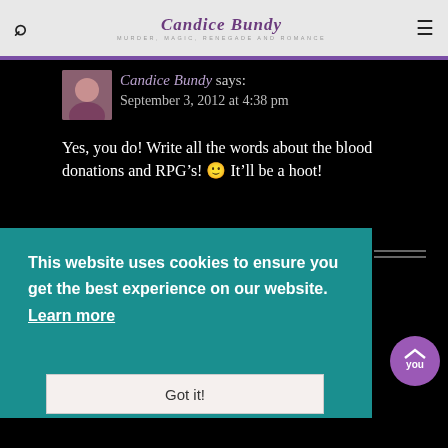Candice Bundy — Murder, Magic, Renegade, and Romance
Candice Bundy says:
September 3, 2012 at 4:38 pm
Yes, you do! Write all the words about the blood donations and RPG's! 🙂 It'll be a hoot!
This website uses cookies to ensure you get the best experience on our website. Learn more
Got it!